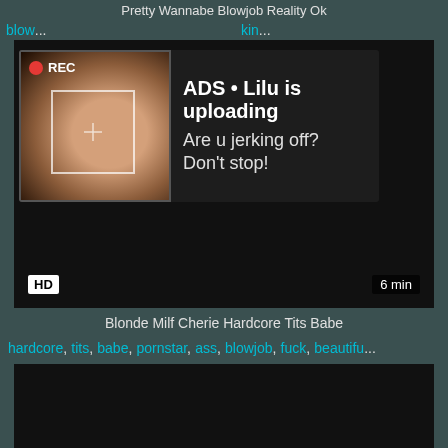Pretty Wannabe Blowjob Reality Ok
blow... kin...
[Figure (screenshot): Video player with ad overlay showing REC badge, focus box, and text 'ADS • Lilu is uploading. Are u jerking off? Don't stop!' with HD badge and 6 min duration]
Blonde Milf Cherie Hardcore Tits Babe
hardcore, tits, babe, pornstar, ass, blowjob, fuck, beautifu...
[Figure (screenshot): Dark video player thumbnail]